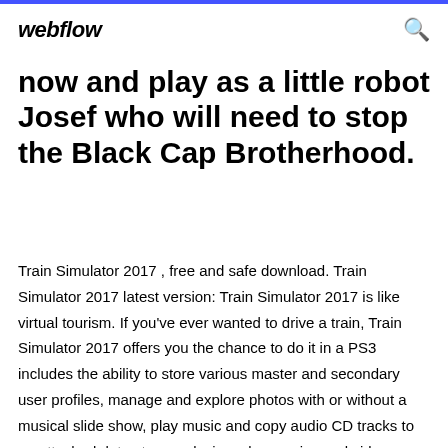webflow
now and play as a little robot Josef who will need to stop the Black Cap Brotherhood.
Train Simulator 2017 , free and safe download. Train Simulator 2017 latest version: Train Simulator 2017 is like virtual tourism. If you've ever wanted to drive a train, Train Simulator 2017 offers you the chance to do it in a PS3 includes the ability to store various master and secondary user profiles, manage and explore photos with or without a musical slide show, play music and copy audio CD tracks to an attached data storage device, play movies and video... Play virtual reality porn on PS4 with